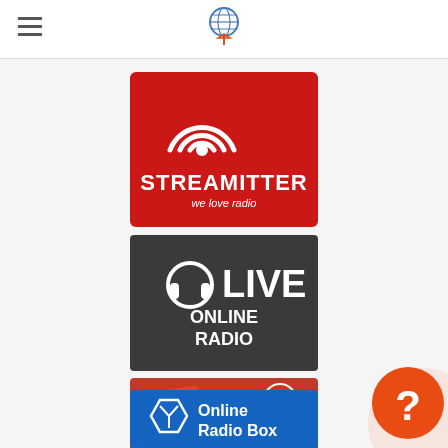[Figure (logo): Hamburger menu icon (three horizontal lines) on the left side of the header]
[Figure (logo): World radio broadcast logo in the center of the header: globe with WiFi signal and red antenna tower]
[Figure (logo): Streamitter logo: red square with WiFi signal waves and text 'STREAMITTER we love radio']
[Figure (logo): Live Online Radio logo: dark/black square with headphones icon and text 'LIVE ONLINE RADIO']
[Figure (logo): myTuner Radio logo: red background with smartphone and radio images, text 'myTuner Radio']
[Figure (logo): Online Radio Box logo: blue rectangle with hexagon icon and text 'Online Radio Box']
[Figure (illustration): Help/support button: orange circle with question mark, positioned bottom-right corner]